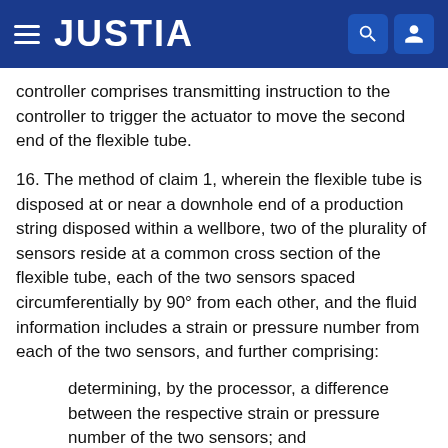JUSTIA
controller comprises transmitting instruction to the controller to trigger the actuator to move the second end of the flexible tube.
16. The method of claim 1, wherein the flexible tube is disposed at or near a downhole end of a production string disposed within a wellbore, two of the plurality of sensors reside at a common cross section of the flexible tube, each of the two sensors spaced circumferentially by 90° from each other, and the fluid information includes a strain or pressure number from each of the two sensors, and further comprising:
determining, by the processor, a difference between the respective strain or pressure number of the two sensors; and
determining, based on the determined difference